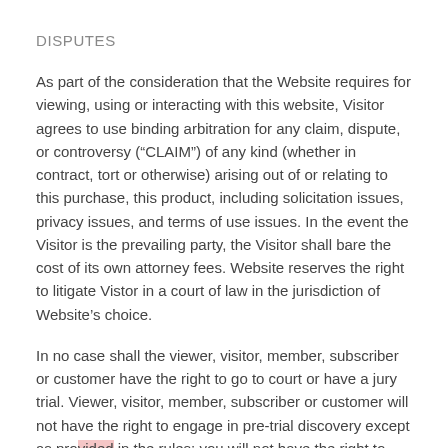DISPUTES
As part of the consideration that the Website requires for viewing, using or interacting with this website, Visitor agrees to use binding arbitration for any claim, dispute, or controversy (“CLAIM”) of any kind (whether in contract, tort or otherwise) arising out of or relating to this purchase, this product, including solicitation issues, privacy issues, and terms of use issues. In the event the Visitor is the prevailing party, the Visitor shall bare the cost of its own attorney fees. Website reserves the right to litigate Vistor in a court of law in the jurisdiction of Website’s choice.
In no case shall the viewer, visitor, member, subscriber or customer have the right to go to court or have a jury trial. Viewer, visitor, member, subscriber or customer will not have the right to engage in pre-trial discovery except as provided in the rules; you will not have the right to participate as a representative or member of any class of claimants.